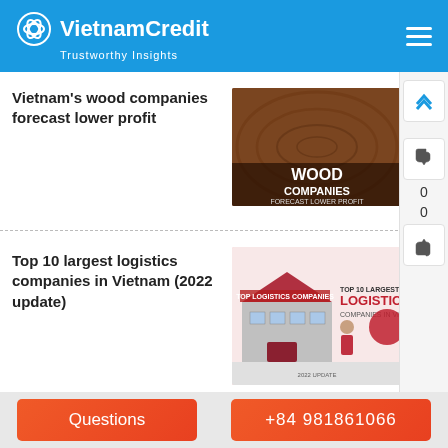VietnamCredit – Trustworthy Insights
Vietnam's wood companies forecast lower profit
[Figure (photo): Wood companies article thumbnail showing wood grain with text overlay 'WOOD COMPANIES FORECAST LOWER PROFIT']
Top 10 largest logistics companies in Vietnam (2022 update)
[Figure (photo): Logistics article thumbnail showing warehouse/building illustration with text 'TOP 10 LARGEST LOGISTICS COMPANIES IN VIETNAM']
Vietnam's logistics industry: an
[Figure (photo): Partial thumbnail showing 'LOGISTICS' text in blue]
Questions
+84 981861066